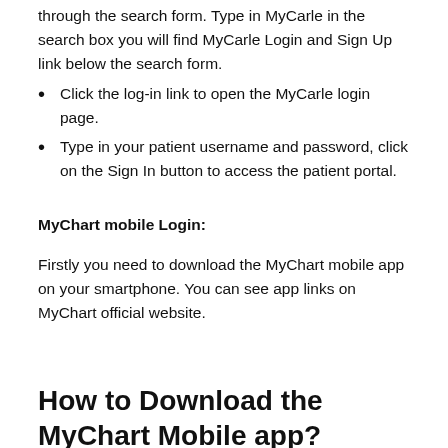through the search form. Type in MyCarle in the search box you will find MyCarle Login and Sign Up link below the search form.
Click the log-in link to open the MyCarle login page.
Type in your patient username and password, click on the Sign In button to access the patient portal.
MyChart mobile Login:
Firstly you need to download the MyChart mobile app on your smartphone. You can see app links on MyChart official website.
How to Download the MyChart Mobile app?
Open a web browser on your Mobile devices hand. Go to